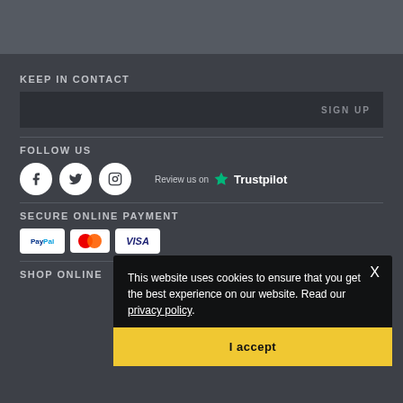KEEP IN CONTACT
SIGN UP
FOLLOW US
[Figure (logo): Facebook, Twitter, Instagram social media icons and Trustpilot review badge]
SECURE ONLINE PAYMENT
[Figure (logo): PayPal, Mastercard, Visa payment icons]
SHOP ONLINE
This website uses cookies to ensure that you get the best experience on our website. Read our privacy policy.
I accept